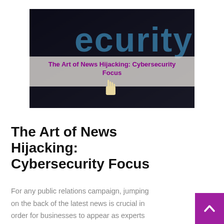[Figure (photo): Dark background image showing the word 'security' in blue text with a cursor/hand pointer icon, overlaid with a semi-transparent light banner containing the text 'The Art of News Hijacking: Cybersecurity Focus' in purple.]
The Art of News Hijacking: Cybersecurity Focus
For any public relations campaign, jumping on the back of the latest news is crucial in order for businesses to appear as experts their field who are fully in tune with the lat industry changes and issues. We have previously discussed this in a recent blog